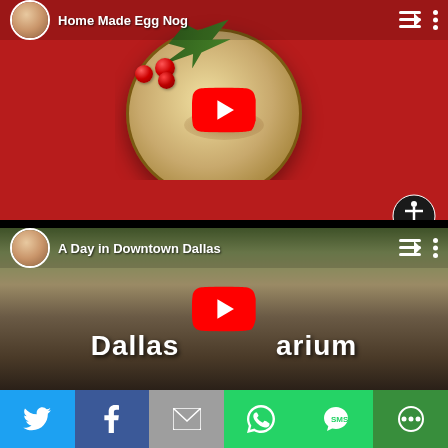[Figure (screenshot): YouTube video thumbnail for 'Home Made Egg Nog' showing a bowl of eggnog with cranberries and a fern leaf on a red background, with YouTube play button overlay and channel avatar]
[Figure (screenshot): YouTube video thumbnail for 'A Day in Downtown Dallas' showing the Dallas Aquarium text overlay on an outdoor scene with trees and rock structures, with YouTube play button overlay and channel avatar]
[Figure (infographic): Social sharing bar at the bottom with icons for Twitter (blue), Facebook (dark blue), Email (gray), WhatsApp (green), SMS (green), and More/ShareThis (green)]